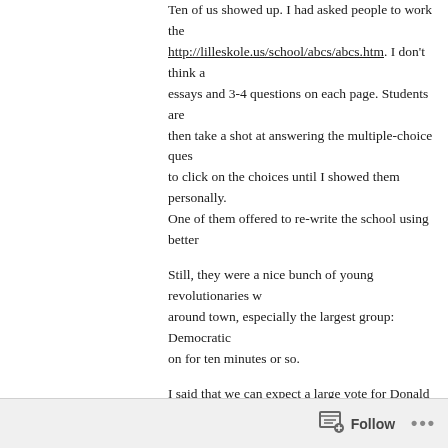Ten of us showed up. I had asked people to work the http://lilleskole.us/school/abcs/abcs.htm. I don't think a essays and 3-4 questions on each page. Students are then take a shot at answering the multiple-choice ques to click on the choices until I showed them personally. One of them offered to re-write the school using better
Still, they were a nice bunch of young revolutionaries w around town, especially the largest group: Democratic on for ten minutes or so.
I said that we can expect a large vote for Donald Trum sense. People do all kinds of things that make no sens common sense. Common sense is just the sum of wha adequate for most situations.
But many people, possibly most people, don't even us questions. They use superstition, religion, or what they other words, they use their feelings.
Both our feelings and our common sense were formed. Everything we read, hear, or view was either written by to us. Every textbook, every movie, every song, every
Follow ···